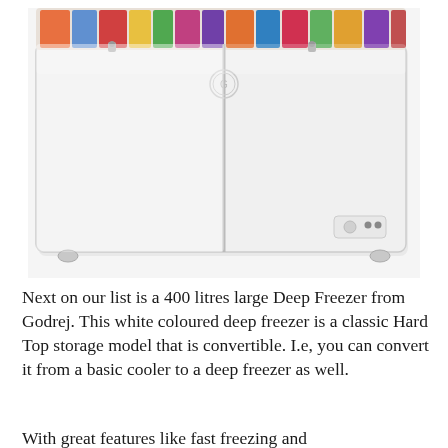[Figure (photo): A large white Godrej 400-litre hard-top chest deep freezer with two lid sections, a round Godrej logo emblem on top center, a small control panel on the lower right side, and casters/feet at the bottom corners. The top open view shows frozen food packages visible through the open lids in a retail/product photo style.]
Next on our list is a 400 litres large Deep Freezer from Godrej. This white coloured deep freezer is a classic Hard Top storage model that is convertible. I.e, you can convert it from a basic cooler to a deep freezer as well.
With great features like fast freezing and